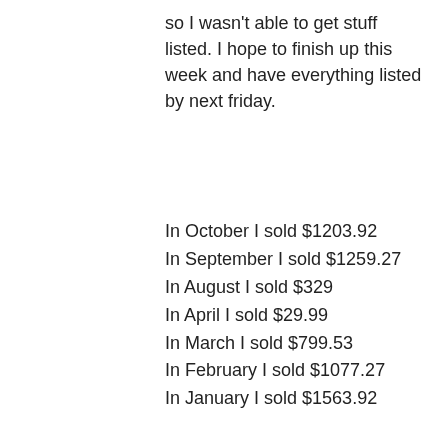so I wasn't able to get stuff listed. I hope to finish up this week and have everything listed by next friday.
In October I sold $1203.92
In September I sold $1259.27
In August I sold $329
In April I sold $29.99
In March I sold $799.53
In February I sold $1077.27
In January I sold $1563.92